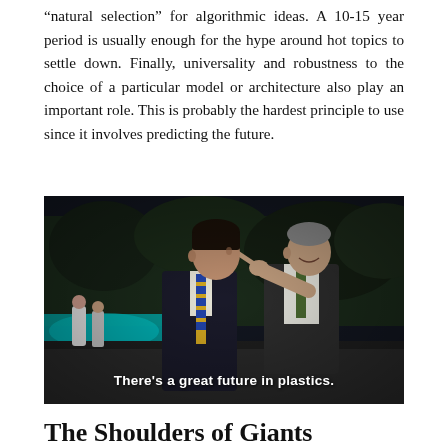“natural selection” for algorithmic ideas. A 10-15 year period is usually enough for the hype around hot topics to settle down. Finally, universality and robustness to the choice of a particular model or architecture also play an important role. This is probably the hardest principle to use since it involves predicting the future.
[Figure (photo): Movie still from The Graduate (1967) showing two men at a poolside party. An older man in a suit has his hand on the shoulder of a younger man in a dark blazer and striped tie. White subtitle text reads: There's a great future in plastics.]
The Shoulders of Giants